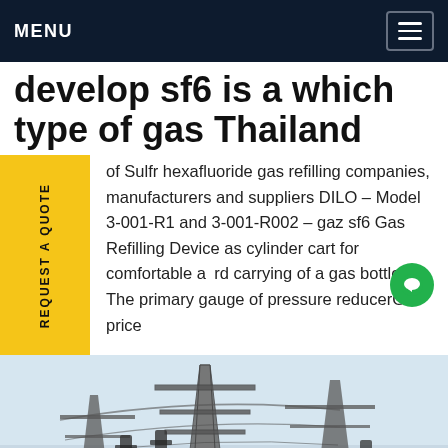MENU
develop sf6 is a which type of gas Thailand
of Sulfr hexafluoride gas refilling companies, manufacturers and suppliers DILO - Model 3-001-1 and 3-001-R002 - gaz sf6 Gas Refilling Device as cylinder cart for comfortable and carrying of a gas bottle. The primary gauge of pressure reducerGet price
[Figure (photo): Electrical substation with transmission towers, insulators, and large cylindrical pipes visible against a light sky background.]